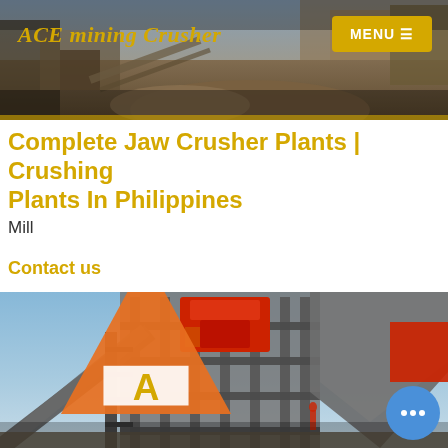[Figure (photo): Top banner header image showing mining/industrial equipment and machinery in a quarry setting. Dark brownish tones.]
ACE mining Crusher
MENU ☰
Complete Jaw Crusher Plants | Crushing Plants In Philippines
Mill
Contact us
[Figure (photo): Bottom large photo showing a jaw crushing plant industrial facility with steel structures, conveyor belts, red crusher machine at top, blue sky background.]